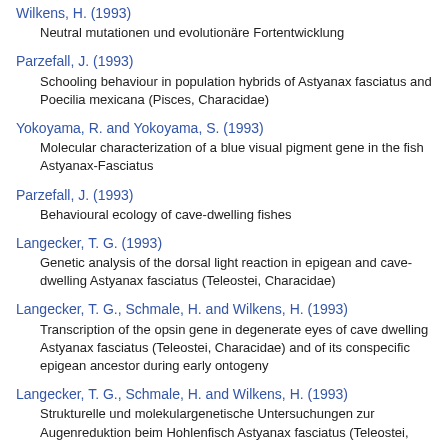Wilkens, H. (1993)
Neutral mutationen und evolutionäre Fortentwicklung
Parzefall, J. (1993)
Schooling behaviour in population hybrids of Astyanax fasciatus and Poecilia mexicana (Pisces, Characidae)
Yokoyama, R. and Yokoyama, S. (1993)
Molecular characterization of a blue visual pigment gene in the fish Astyanax-Fasciatus
Parzefall, J. (1993)
Behavioural ecology of cave-dwelling fishes
Langecker, T. G. (1993)
Genetic analysis of the dorsal light reaction in epigean and cave-dwelling Astyanax fasciatus (Teleostei, Characidae)
Langecker, T. G., Schmale, H. and Wilkens, H. (1993)
Transcription of the opsin gene in degenerate eyes of cave dwelling Astyanax fasciatus (Teleostei, Characidae) and of its conspecific epigean ancestor during early ontogeny
Langecker, T. G., Schmale, H. and Wilkens, H. (1993)
Strukturelle und molekulargenetische Untersuchungen zur Augenreduktion beim Hohlenfisch Astyanax fasciatus (Teleostei,